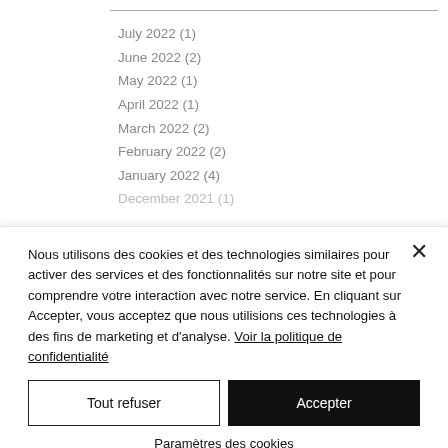July 2022 (1)
June 2022 (2)
May 2022 (1)
April 2022 (1)
March 2022 (2)
February 2022 (2)
January 2022 (4)
December 2021 (1)
Nous utilisons des cookies et des technologies similaires pour activer des services et des fonctionnalités sur notre site et pour comprendre votre interaction avec notre service. En cliquant sur Accepter, vous acceptez que nous utilisions ces technologies à des fins de marketing et d'analyse. Voir la politique de confidentialité
Tout refuser
Accepter
Paramètres des cookies